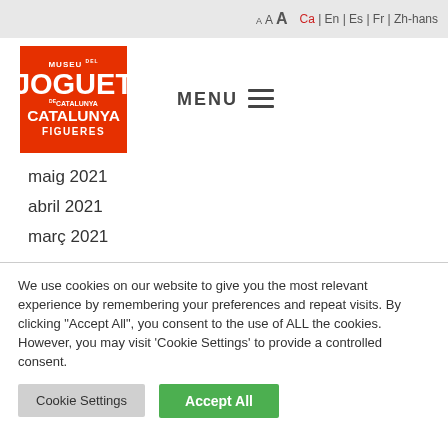A A A  Ca | En | Es | Fr | Zh-hans
[Figure (logo): Museu del Joguet de Catalunya Figueres logo — red square with white text]
MENU ≡
maig 2021
abril 2021
març 2021
We use cookies on our website to give you the most relevant experience by remembering your preferences and repeat visits. By clicking "Accept All", you consent to the use of ALL the cookies. However, you may visit 'Cookie Settings' to provide a controlled consent.
Cookie Settings  Accept All